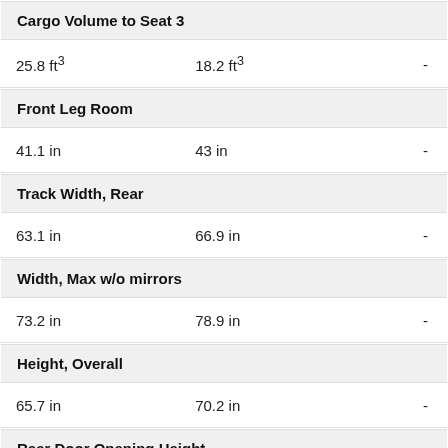Cargo Volume to Seat 3
25.8 ft³    18.2 ft³    -
Front Leg Room
41.1 in    43 in    -
Track Width, Rear
63.1 in    66.9 in    -
Width, Max w/o mirrors
73.2 in    78.9 in    -
Height, Overall
65.7 in    70.2 in    -
Rear Door Opening Height
N/A    N/A    -